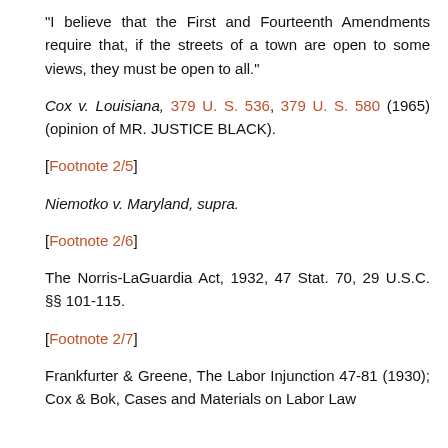"I believe that the First and Fourteenth Amendments require that, if the streets of a town are open to some views, they must be open to all."
Cox v. Louisiana, 379 U. S. 536, 379 U. S. 580 (1965) (opinion of MR. JUSTICE BLACK).
[Footnote 2/5]
Niemotko v. Maryland, supra.
[Footnote 2/6]
The Norris-LaGuardia Act, 1932, 47 Stat. 70, 29 U.S.C. §§ 101-115.
[Footnote 2/7]
Frankfurter & Greene, The Labor Injunction 47-81 (1930); Cox & Bok, Cases and Materials on Labor Law